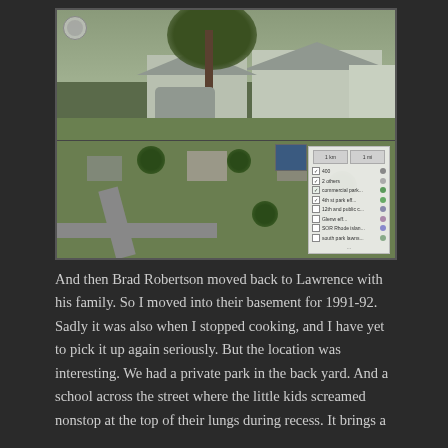[Figure (photo): Two-panel image: top panel shows a Google Street View of a small white/gray ranch house with a car in the driveway and a large tree in front; bottom panel shows an aerial/satellite view of the same neighborhood with a map layers panel visible on the right side.]
And then Brad Robertson moved back to Lawrence with his family. So I moved into their basement for 1991-92. Sadly it was also when I stopped cooking, and I have yet to pick it up again seriously. But the location was interesting. We had a private park in the back yard. And a school across the street where the little kids screamed nonstop at the top of their lungs during recess. It brings a